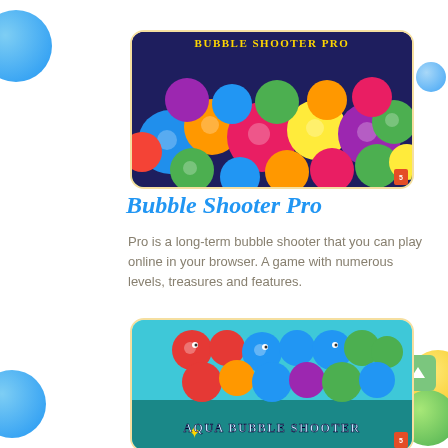[Figure (screenshot): Bubble Shooter Pro game thumbnail showing colorful balls with text 'BUBBLE SHOOTER PRO']
Bubble Shooter Pro
Pro is a long-term bubble shooter that you can play online in your browser. A game with numerous levels, treasures and features.
[Figure (screenshot): Aqua Bubble Shooter game thumbnail showing colorful bubbles with fish underwater theme and text 'AQUA BUBBLE SHOOTER']